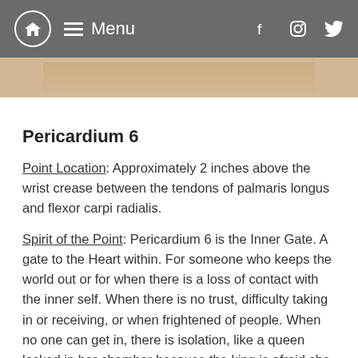Menu
[Figure (photo): Partial photo of a person, cropped at top, showing skin/face area]
Pericardium 6
Point Location: Approximately 2 inches above the wrist crease between the tendons of palmaris longus and flexor carpi radialis.
Spirit of the Point: Pericardium 6 is the Inner Gate. A gate to the Heart within. For someone who keeps the world out or for when there is a loss of contact with the inner self. When there is no trust, difficulty taking in or receiving, or when frightened of people. When no one can get in, there is isolation, like a queen locked in her chamber because the king is afraid she will be